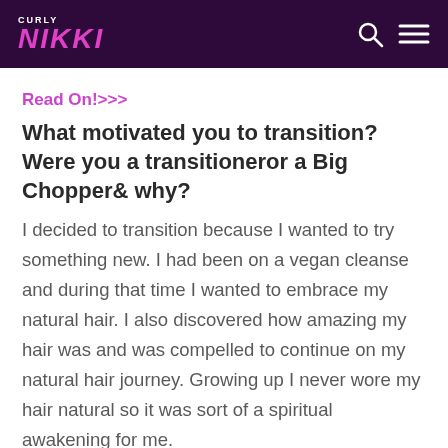CURLY NIKKI
Read On!>>>
What motivated you to transition? Were you a transitioneror a Big Chopper& why?
I decided to transition because I wanted to try something new. I had been on a vegan cleanse and during that time I wanted to embrace my natural hair. I also discovered how amazing my hair was and was compelled to continue on my natural hair journey. Growing up I never wore my hair natural so it was sort of a spiritual awakening for me.